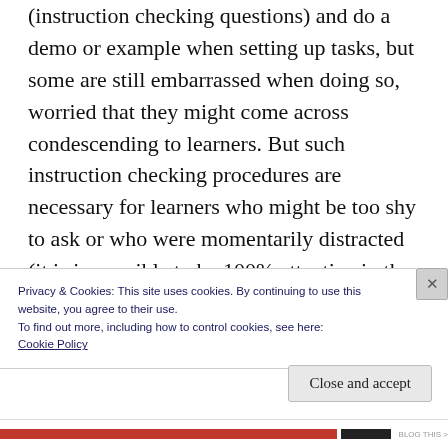(instruction checking questions) and do a demo or example when setting up tasks, but some are still embarrassed when doing so, worried that they might come across condescending to learners. But such instruction checking procedures are necessary for learners who might be too shy to ask or who were momentarily distracted (it is impossible to be 100% attentive in the classroom all of the time) so that they are able to follow
Privacy & Cookies: This site uses cookies. By continuing to use this website, you agree to their use.
To find out more, including how to control cookies, see here:
Cookie Policy
Close and accept